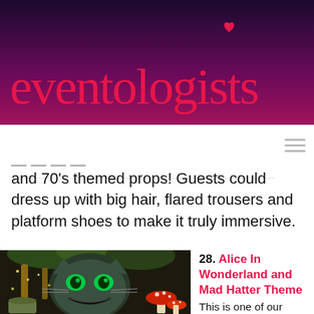[Figure (logo): Eventologists logo with pink/red cursive text on dark purple-to-magenta gradient background, with a small pink heart icon above the letter 'o' in 'logists']
and 70's themed props! Guests could dress up with big hair, flared trousers and platform shoes to make it truly immersive.
[Figure (photo): Alice in Wonderland themed event decoration showing a large Cheshire Cat sculpture with glowing green eyes, red mushrooms with white spots, fairy lights, and lush greenery]
28. Alice In Wonderland and Mad Hatter Theme
This is one of our favourites